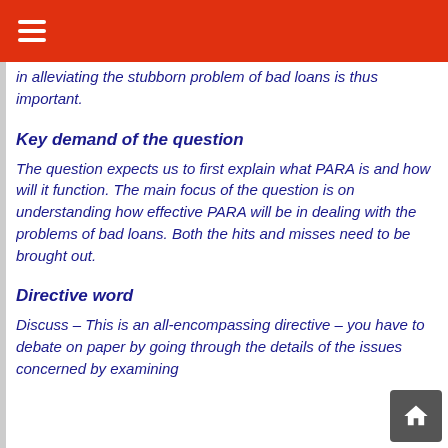in alleviating the stubborn problem of bad loans is thus important.
Key demand of the question
The question expects us to first explain what PARA is and how will it function. The main focus of the question is on understanding how effective PARA will be in dealing with the problems of bad loans. Both the hits and misses need to be brought out.
Directive word
Discuss – This is an all-encompassing directive – you have to debate on paper by going through the details of the issues concerned by examining each one of them. You have to give reasons for and against arguments.